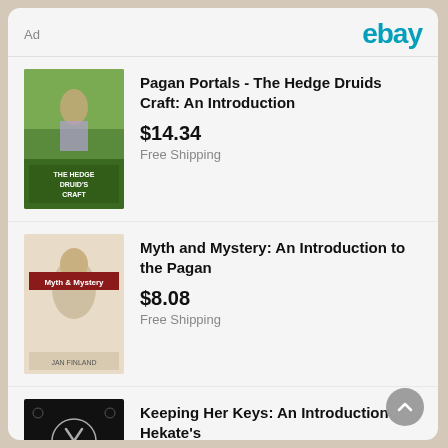Ad
[Figure (logo): eBay logo in teal/cyan color]
[Figure (photo): Book cover: Pagan Portals - The Hedge Druid's Craft]
Pagan Portals - The Hedge Druids Craft: An Introduction
$14.34
Free Shipping
[Figure (photo): Book cover: Myth and Mystery]
Myth and Mystery: An Introduction to the Pagan
$8.08
Free Shipping
[Figure (photo): Book cover: Keeping Her Keys - black cover with crossed keys symbol]
Keeping Her Keys: An Introduction To Hekate's
$18.25
Free Shipping
[Figure (photo): Book cover: Devotional Polytheism - dark cover with candles]
Devotional Polytheism : An Introduction by Galina
$12.99
Free Shipping